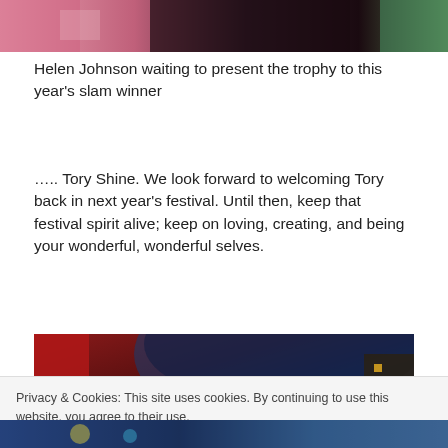[Figure (photo): Top portion of a photo showing people at an event, partially cropped]
Helen Johnson waiting to present the trophy to this year's slam winner
….. Tory Shine. We look forward to welcoming Tory back in next year's festival. Until then, keep that festival spirit alive; keep on loving, creating, and being your wonderful, wonderful selves.
[Figure (photo): Indoor festival venue photo showing stage lights and colorful tent interior]
Privacy & Cookies: This site uses cookies. By continuing to use this website, you agree to their use.
To find out more, including how to control cookies, see here: Cookie Policy
[Figure (photo): Bottom strip of another photo at the festival, partially visible]